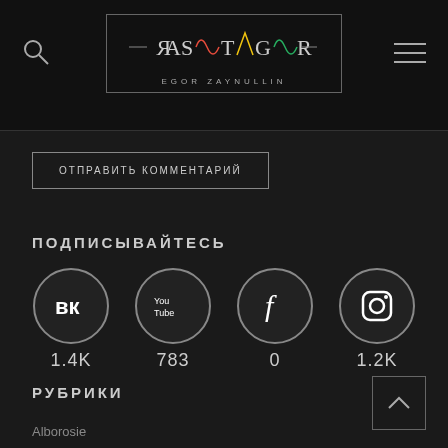[Figure (logo): RASTAGOR / EGOR ZAYNULLIN logo with colorful wave design in a rectangular border]
ОТПРАВИТЬ КОММЕНТАРИЙ
ПОДПИСЫВАЙТЕСЬ
[Figure (infographic): Social media icons row: VK (1.4K), YouTube (783), Facebook (0), Instagram (1.2K)]
РУБРИКИ
Alborosie